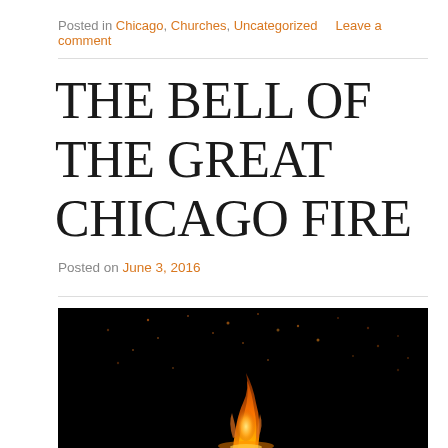Posted in Chicago, Churches, Uncategorized   Leave a comment
THE BELL OF THE GREAT CHICAGO FIRE
Posted on June 3, 2016
[Figure (photo): Dark/black background with orange fire sparks and flames in the lower center, dramatic fire photography]